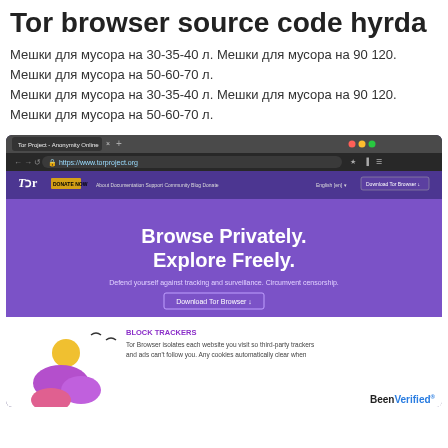Tor browser source code hyrda
Мешки для мусора на 30-35-40 л. Мешки для мусора на 90 120.
Мешки для мусора на 50-60-70 л.
Мешки для мусора на 30-35-40 л. Мешки для мусора на 90 120.
Мешки для мусора на 50-60-70 л.
[Figure (screenshot): Screenshot of the Tor Project website (torproject.org) showing the browser interface with 'Browse Privately. Explore Freely.' headline, navigation bar with Tor logo and DONATE NOW button, and a features section showing 'BLOCK TRACKERS' text.]